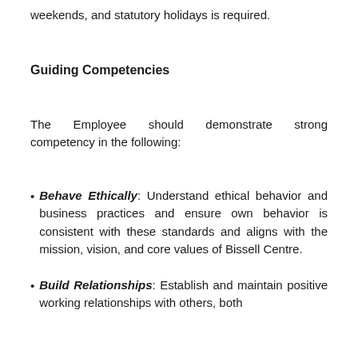weekends, and statutory holidays is required.
Guiding Competencies
The Employee should demonstrate strong competency in the following:
Behave Ethically: Understand ethical behavior and business practices and ensure own behavior is consistent with these standards and aligns with the mission, vision, and core values of Bissell Centre.
Build Relationships: Establish and maintain positive working relationships with others, both